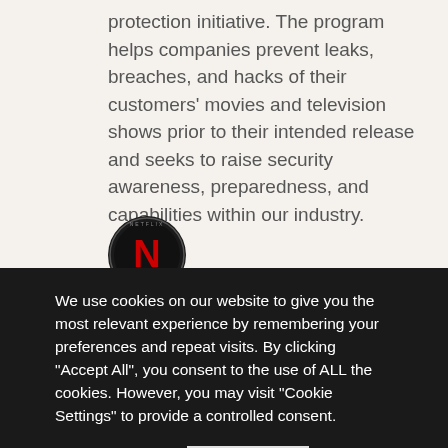protection initiative. The program helps companies prevent leaks, breaches, and hacks of their customers' movies and television shows prior to their intended release and seeks to raise security awareness, preparedness, and capabilities within our industry.
[Figure (logo): Netflix logo — circular badge with red N on black background and text around the border]
We use cookies on our website to give you the most relevant experience by remembering your preferences and repeat visits. By clicking "Accept All", you consent to the use of ALL the cookies. However, you may visit "Cookie Settings" to provide a controlled consent.
Cookie Settings | Accept All